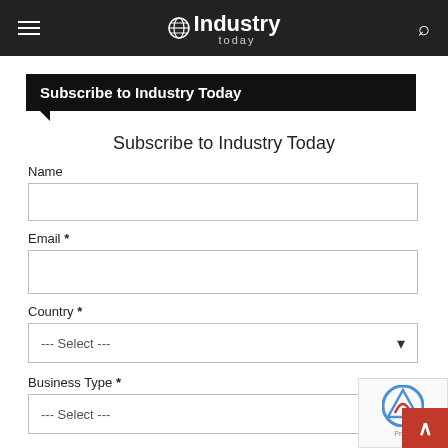Industry Today
Subscribe to Industry Today
Subscribe to Industry Today
Name
Email *
Country *
--- Select ---
Business Type *
--- Select ---